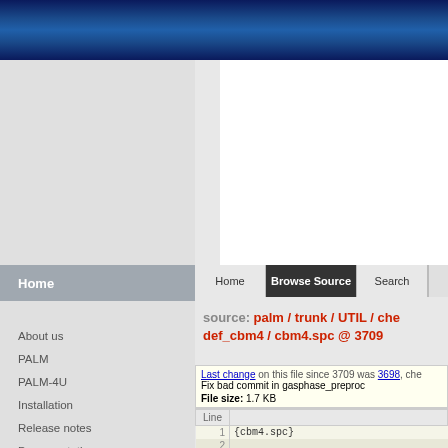[Figure (screenshot): Blue wave/water texture banner image at top of page]
Home
[Figure (screenshot): Navigation tabs: Home, Browse Source (active), Search]
source: palm / trunk / UTIL / che def_cbm4 / cbm4.spc @ 3709
Last change on this file since 3709 was 3698, che
Fix bad commit in gasphase_preproc
File size: 1.7 KB
| Line |  |
| --- | --- |
| 1 | {cbm4.spc} |
| 2 |  |
| 3 | #include_atoms |
About us
PALM
PALM-4U
Installation
Release notes
Documentation
Getting Help